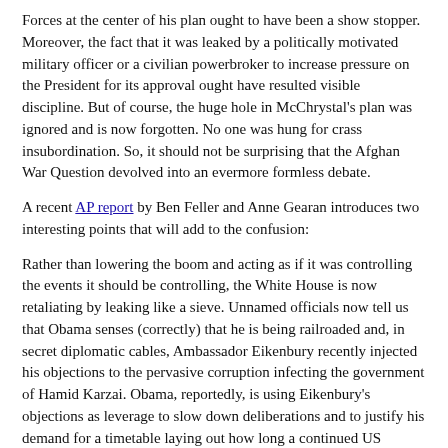Forces at the center of his plan ought to have been a show stopper. Moreover, the fact that it was leaked by a politically motivated military officer or a civilian powerbroker to increase pressure on the President for its approval ought have resulted visible discipline. But of course, the huge hole in McChrystal's plan was ignored and is now forgotten. No one was hung for crass insubordination. So, it should not be surprising that the Afghan War Question devolved into an evermore formless debate.
A recent AP report by Ben Feller and Anne Gearan introduces two interesting points that will add to the confusion:
Rather than lowering the boom and acting as if it was controlling the events it should be controlling, the White House is now retaliating by leaking like a sieve. Unnamed officials now tell us that Obama senses (correctly) that he is being railroaded and, in secret diplomatic cables, Ambassador Eikenbury recently injected his objections to the pervasive corruption infecting the government of Hamid Karzai. Obama, reportedly, is using Eikenbury's objections as leverage to slow down deliberations and to justify his demand for a timetable laying out how long a continued US presence will be needed.
On the other hand, the report, in what is no doubt a trial balloon, says Obama is leaning toward a "compromise" position of authorizing an increase of 30,000 troops, including three Army brigades and an unspecified USMC contingent. Included in this "compromise" head count of 30,000, however, would be an authorization for the bloated overhead of a huge new headquarters housing 7,000 or more troops. Such a headquarters will no doubt necessitate a huge outlay in construction dollars to house it, a quantum increase in the thru-put of logistics pipelines, and a large increase